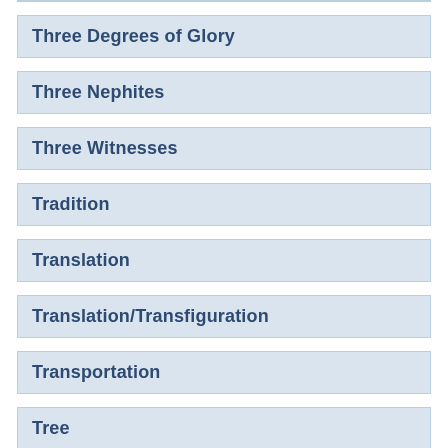Three Degrees of Glory
Three Nephites
Three Witnesses
Tradition
Translation
Translation/Transfiguration
Transportation
Tree